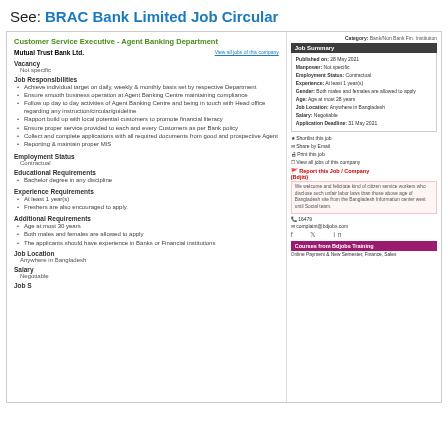See: BRAC Bank Limited Job Circular
Customer Service Executive - Agent Banking Department
Mutual Trust Bank Ltd.
View all jobs of this company
Vacancy
Not specific
Job Responsibilities
Achieve individual target on daily, weekly & monthly basis set by respective Department
Ensure smooth business operation at Agent Banking Centre maintaining compliance
Follow up day to day activities of Agent Banking Centre and being in touch with Head office regarding any instruction/circular/guideline
Rapport build up with local potential customers to promote financial literacy
Ensure proper service provided to each and every Customers as per Bank policy
Collect and complete applications with all required documents from good and prospective Agent
Reporting & maintain proper MIS
Employment Status
Contractual
Educational Requirements
Bachelor degree in any discipline
Experience Requirements
At least 1 year(s)
Freshers are also encouraged to apply.
Additional Requirements
Age at most 30 years
Both males and females are allowed to apply
The applicants should have experience in Banks or Financial institutions
Job Location
Anywhere in Bangladesh
Salary
Negotiable
Category: Bank/Non Bank Fin. Institution
Job Summary
Published on: 28 May 2021
Manpower: Not specific
Employment Status: Contractual
Experience: At least 1 year(s)
Gender: Both males and females are allowed to apply
Age: Age at most 28 years
Job Location: Anywhere in Bangladesh
Salary: Negotiable
Application Deadline: 31 May 2021
★ Shortlist this job
✉ Share by Email
🖨 Print this job
View all jobs of this company
Report this Job / Company (Bdjiti)
16479
complaint@bdjobs.com
Courses from Bdjobs Training
Online Payment & New Semester, Finance, Sales